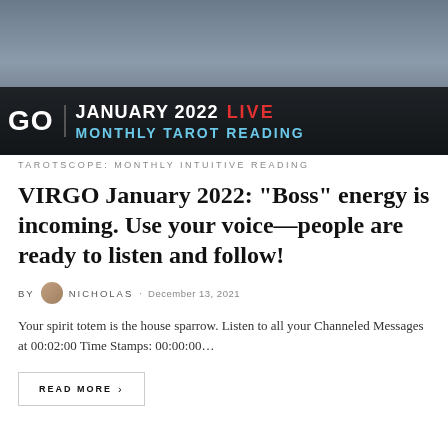[Figure (screenshot): Video thumbnail showing a man holding tarot cards with text overlay: GO | JANUARY 2022 LIVE MONTHLY TAROT READING on dark background]
TAROTSCOPE: MONTHLY INTUITIVE READING
VIRGO January 2022: “Boss” energy is incoming. Use your voice—people are ready to listen and follow!
By NICHOLAS · December 13, 2021
Your spirit totem is the house sparrow. Listen to all your Channeled Messages at 00:02:00 Time Stamps: 00:00:00…
READ MORE >